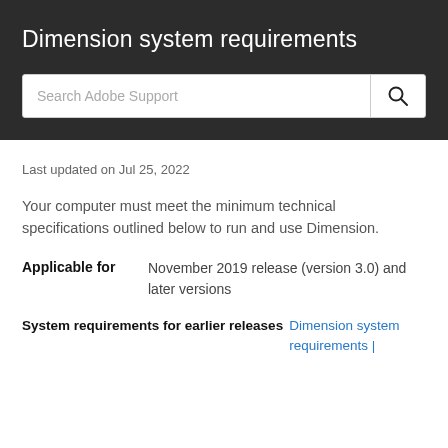Dimension system requirements
[Figure (screenshot): Search Adobe Support search bar with magnifying glass icon]
Last updated on Jul 25, 2022
Your computer must meet the minimum technical specifications outlined below to run and use Dimension.
Applicable for   November 2019 release (version 3.0) and later versions
System requirements for earlier releases   Dimension system requirements |